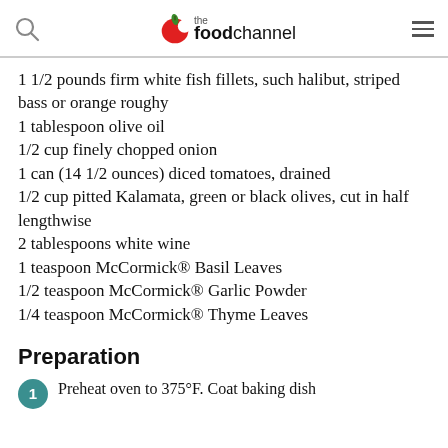the food channel
1 1/2 pounds firm white fish fillets, such halibut, striped bass or orange roughy
1 tablespoon olive oil
1/2 cup finely chopped onion
1 can (14 1/2 ounces) diced tomatoes, drained
1/2 cup pitted Kalamata, green or black olives, cut in half lengthwise
2 tablespoons white wine
1 teaspoon McCormick® Basil Leaves
1/2 teaspoon McCormick® Garlic Powder
1/4 teaspoon McCormick® Thyme Leaves
Preparation
Preheat oven to 375°F. Coat baking dish